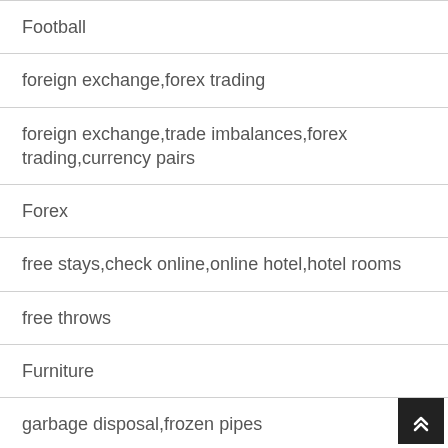Football
foreign exchange,forex trading
foreign exchange,trade imbalances,forex trading,currency pairs
Forex
free stays,check online,online hotel,hotel rooms
free throws
Furniture
garbage disposal,frozen pipes
garbage disposal,overflow holes
Gardening